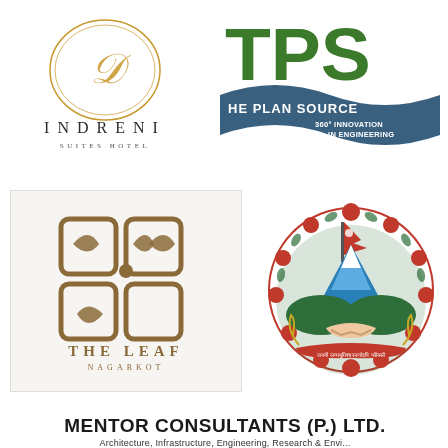[Figure (logo): Indreni Suites Hotel logo - decorative oval with stylized D in gold, text INDRENI in spaced caps, SUITES HOTEL below]
[Figure (logo): TPS The Plan Source logo - green TPS letters, blue wave, text THE PLAN SOURCE, 360° INNOVATION IN ENGINEERING]
[Figure (logo): The Leaf Nagarkot logo - brown geometric leaf/square motif, THE LEAF NAGARKOT text below]
[Figure (logo): Nepal Government emblem - circular emblem with mountains, rhododendrons, Nepal flag, handshake, Nepali text]
[Figure (logo): Mentor Consultants (P.) Ltd. logo - bold black text, subtitle Architecture, Infrastructure, Engineering, Research & Environment]